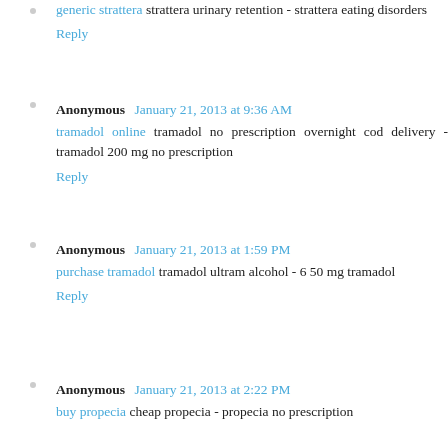generic strattera strattera urinary retention - strattera eating disorders
Reply
Anonymous January 21, 2013 at 9:36 AM
tramadol online tramadol no prescription overnight cod delivery - tramadol 200 mg no prescription
Reply
Anonymous January 21, 2013 at 1:59 PM
purchase tramadol tramadol ultram alcohol - 6 50 mg tramadol
Reply
Anonymous January 21, 2013 at 2:22 PM
buy propecia cheap propecia - propecia no prescription